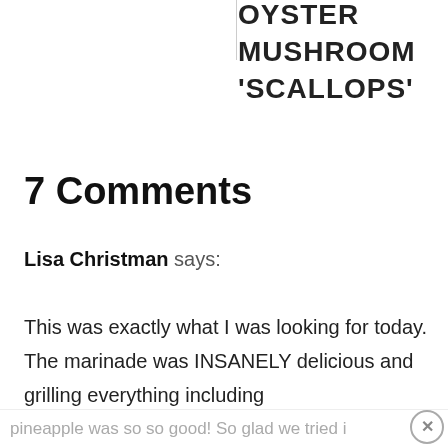OYSTER MUSHROOM 'SCALLOPS'
7 Comments
Lisa Christman says:
This was exactly what I was looking for today. The marinade was INSANELY delicious and grilling everything including
pineapple was so so good! So glad we tried it